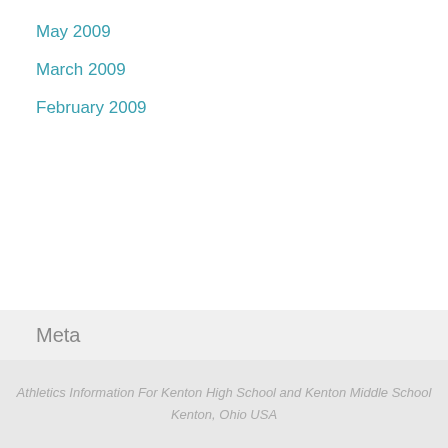May 2009
March 2009
February 2009
Meta
Log in
Entries RSS
Comments RSS
WordPress.org
Athletics Information For Kenton High School and Kenton Middle School
Kenton, Ohio USA